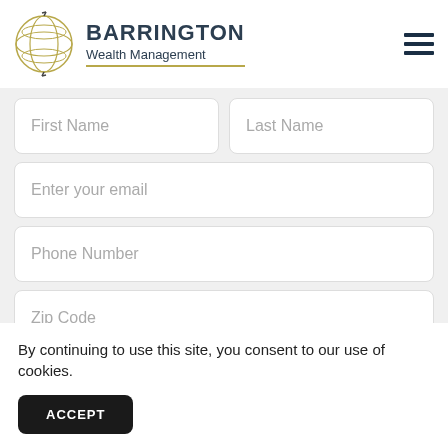[Figure (logo): Barrington Wealth Management logo with globe icon and company name]
First Name
Last Name
Enter your email
Phone Number
Zip Code
By continuing to use this site, you consent to our use of cookies.
ACCEPT